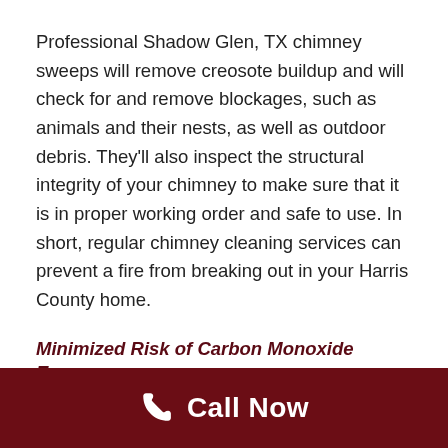Professional Shadow Glen, TX chimney sweeps will remove creosote buildup and will check for and remove blockages, such as animals and their nests, as well as outdoor debris. They'll also inspect the structural integrity of your chimney to make sure that it is in proper working order and safe to use. In short, regular chimney cleaning services can prevent a fire from breaking out in your Harris County home.
Minimized Risk of Carbon Monoxide Exposure
Carbon monoxide is another byproduct of combustion. Normally, this odorless, colorless, toxic fume exhausts through the chimney; however, if the chimney isn't
Call Now